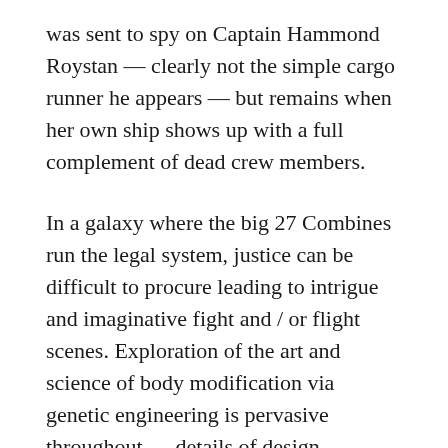was sent to spy on Captain Hammond Roystan — clearly not the simple cargo runner he appears — but remains when her own ship shows up with a full complement of dead crew members.
In a galaxy where the big 27 Combines run the legal system, justice can be difficult to procure leading to intrigue and imaginative fight and / or flight scenes. Exploration of the art and science of body modification via genetic engineering is pervasive throughout — details of design, implementation, requirements, source materials, equipment, and the challenges of difficult cases make for interesting reading. Plenty of technical detail